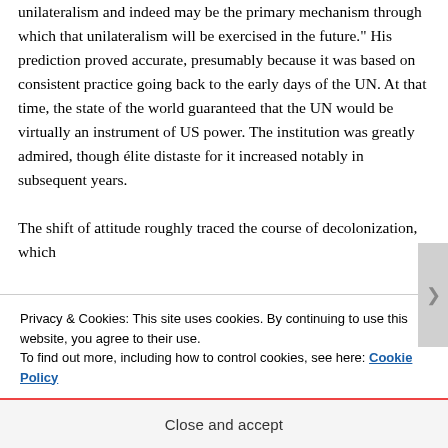unilateralism and indeed may be the primary mechanism through which that unilateralism will be exercised in the future." His prediction proved accurate, presumably because it was based on consistent practice going back to the early days of the UN. At that time, the state of the world guaranteed that the UN would be virtually an instrument of US power. The institution was greatly admired, though élite distaste for it increased notably in subsequent years. The shift of attitude roughly traced the course of decolonization, which
Privacy & Cookies: This site uses cookies. By continuing to use this website, you agree to their use.
To find out more, including how to control cookies, see here: Cookie Policy
Close and accept